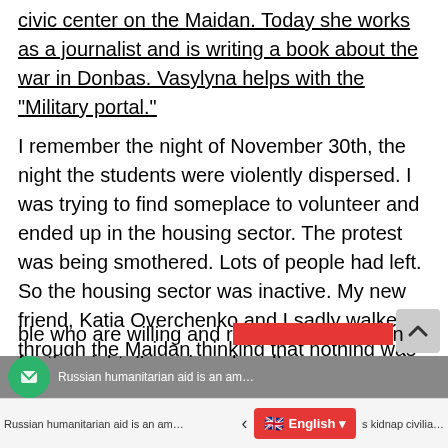civic center on the Maidan. Today she works as a journalist and is writing a book about the war in Donbas. Vasylyna helps with the “Military portal.”
I remember the night of November 30th, the night the students were violently dispersed. I was trying to find someplace to volunteer and ended up in the housing sector. The protest was being smothered. Lots of people had left. So the housing sector was inactive. My new friend, Katia Overchenko and I sadly walked through the Maidan thinking that nothing was accomplished and it’s all ending with no results. Suddenly Katia said, no way, this is not how it’s going to end. Look at all those people standing around the monument, and they have nowhere to go. Are we just going to let them spend the night there like that? I have
ble who are willing and r... n for the night. I’m going ahead!
Russian humanitarian aid is an am... | English ▾ | s kidnap civilia...